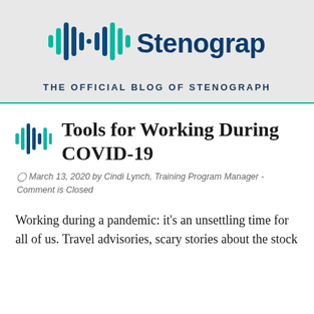[Figure (logo): Stenograph logo with waveform bars icon and wordmark 'Stenograph.']
THE OFFICIAL BLOG OF STENOGRAPH
Tools for Working During COVID-19
March 13, 2020 by Cindi Lynch, Training Program Manager - Comment is Closed
Working during a pandemic: it's an unsettling time for all of us. Travel advisories, scary stories about the stock